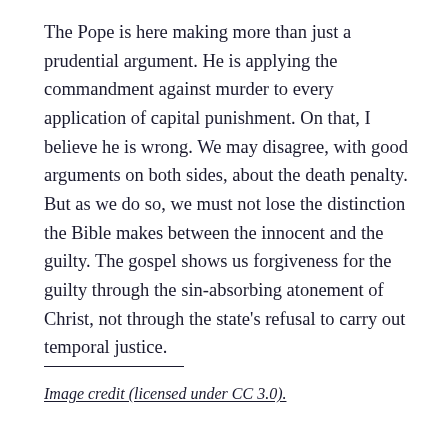The Pope is here making more than just a prudential argument. He is applying the commandment against murder to every application of capital punishment. On that, I believe he is wrong. We may disagree, with good arguments on both sides, about the death penalty. But as we do so, we must not lose the distinction the Bible makes between the innocent and the guilty. The gospel shows us forgiveness for the guilty through the sin-absorbing atonement of Christ, not through the state's refusal to carry out temporal justice.
Image credit (licensed under CC 3.0).